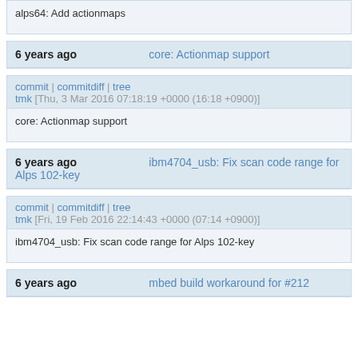alps64: Add actionmaps
6 years ago  core: Actionmap support
commit | commitdiff | tree
tmk [Thu, 3 Mar 2016 07:18:19 +0000 (16:18 +0900)]
core: Actionmap support
6 years ago  ibm4704_usb: Fix scan code range for Alps 102-key
commit | commitdiff | tree
tmk [Fri, 19 Feb 2016 22:14:43 +0000 (07:14 +0900)]
ibm4704_usb: Fix scan code range for Alps 102-key
6 years ago  mbed build workaround for #212